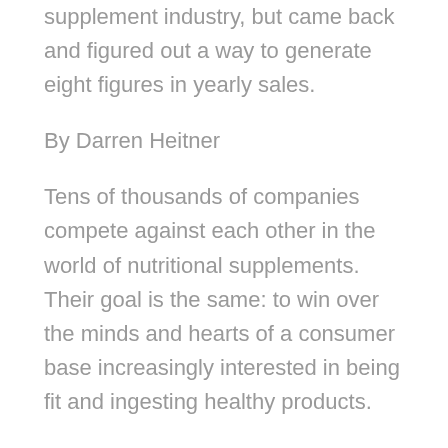supplement industry, but came back and figured out a way to generate eight figures in yearly sales.
By Darren Heitner
Tens of thousands of companies compete against each other in the world of nutritional supplements. Their goal is the same: to win over the minds and hearts of a consumer base increasingly interested in being fit and ingesting healthy products.
It's difficult for a company in the nutritional